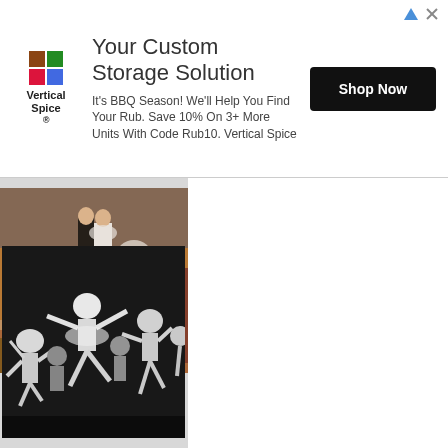[Figure (screenshot): Advertisement banner for Vertical Spice with logo, headline 'Your Custom Storage Solution', body text about BBQ Season discount, and black 'Shop Now' button]
[Figure (photo): Painting of a wedding scene on stairs with bride and groom and figures draped in white veils in the foreground]
Pride of the Soviet people - Unsurpassed Soviet ballet
[Figure (photo): Black and white photograph of Soviet ballet dancers performing dynamic leaps and poses on stage]